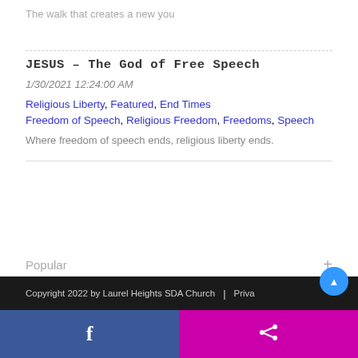The walk that creates a new you
JESUS – The God of Free Speech
1/30/2021 12:24:00 AM
Religious Liberty, Featured, End Times
Freedom of Speech, Religious Freedom, Freedoms, Speech
Where freedom of speech ends, religious liberty ends.
Popular
Tag
Copyright 2022 by Laurel Heights SDA Church  |  Priva…